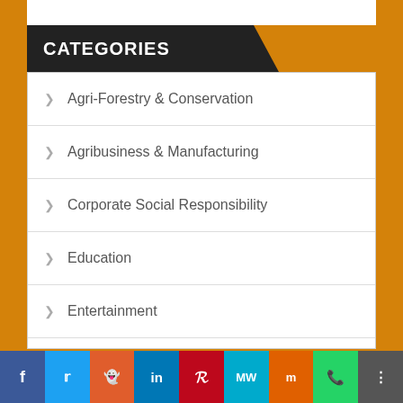CATEGORIES
Agri-Forestry & Conservation
Agribusiness & Manufacturing
Corporate Social Responsibility
Education
Entertainment
Finance
Finance, Fin-Tech & Economic Performance
Health & Pharmaceuticals
Hospitality & Tourism